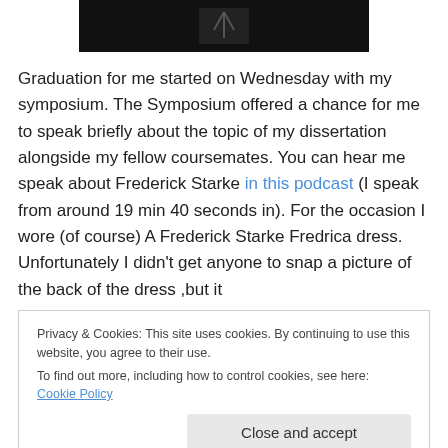[Figure (photo): Dark photograph showing a person making a peace sign gesture, mostly dark/black tones]
Graduation for me started on Wednesday with my symposium. The Symposium offered a chance for me to speak briefly about the topic of my dissertation alongside my fellow coursemates. You can hear me speak about Frederick Starke in this podcast (I speak from around 19 min 40 seconds in). For the occasion I wore (of course) A Frederick Starke Fredrica dress. Unfortunately I didn't get anyone to snap a picture of the back of the dress ,but it
Privacy & Cookies: This site uses cookies. By continuing to use this website, you agree to their use.
To find out more, including how to control cookies, see here: Cookie Policy
[Figure (photo): Bottom partial photo, green and brown tones, appears to show people]